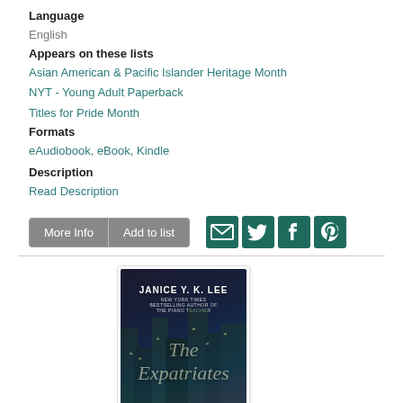Language
English
Appears on these lists
Asian American & Pacific Islander Heritage Month
NYT - Young Adult Paperback
Titles for Pride Month
Formats
eAudiobook, eBook, Kindle
Description
Read Description
[Figure (screenshot): Buttons: More Info | Add to list, and social sharing icons for email, Twitter, Facebook, Pinterest]
[Figure (photo): Book cover for 'The Expatriates' by Janice Y. K. Lee, showing a nighttime city skyline with lit buildings and the title in script font]